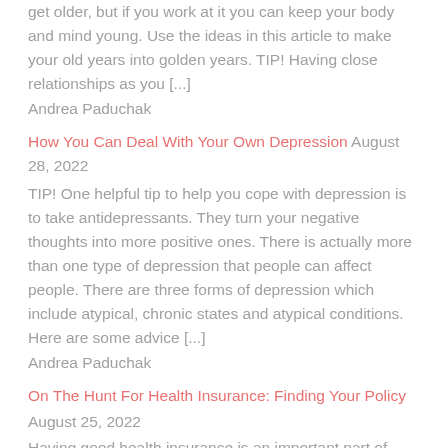get older, but if you work at it you can keep your body and mind young. Use the ideas in this article to make your old years into golden years. TIP! Having close relationships as you [...]
Andrea Paduchak
How You Can Deal With Your Own Depression August 28, 2022
TIP! One helpful tip to help you cope with depression is to take antidepressants. They turn your negative thoughts into more positive ones. There is actually more than one type of depression that people can affect people. There are three forms of depression which include atypical, chronic states and atypical conditions. Here are some advice [...]
Andrea Paduchak
On The Hunt For Health Insurance: Finding Your Policy August 25, 2022
Having good health insurance is an important part of